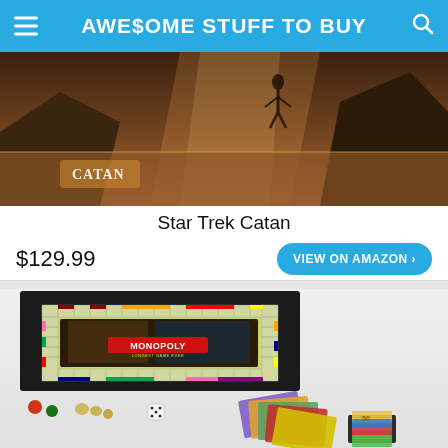AWE$OME STUFF TO BUY
[Figure (photo): Star Trek Catan board game box with fantasy/sci-fi artwork showing a figure in a dramatic landscape]
Star Trek Catan
$129.99
VIEW ON AMAZON >
[Figure (photo): Monopoly Longest Game Ever board game showing the full game board and game components including tokens, dice, cards and money]